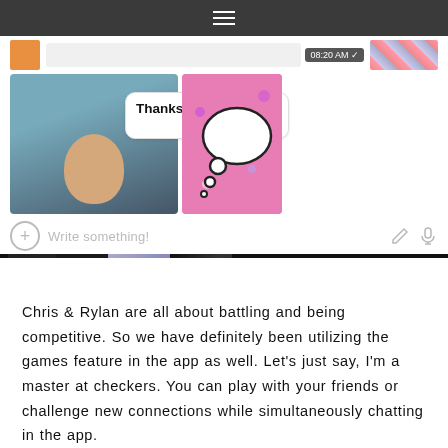☰ (hamburger menu)
[Figure (screenshot): Mobile chat app screenshot showing a conversation with 'Thanks love' message at 08:20 AM, a user selfie, pink sticker background with speech bubble, message input bar with 'Write something!' placeholder, and a media picker row with emoji, WINK label, and photo thumbnails.]
Chris & Rylan are all about battling and being competitive. So we have definitely been utilizing the games feature in the app as well. Let's just say, I'm a master at checkers. You can play with your friends or challenge new connections while simultaneously chatting in the app.